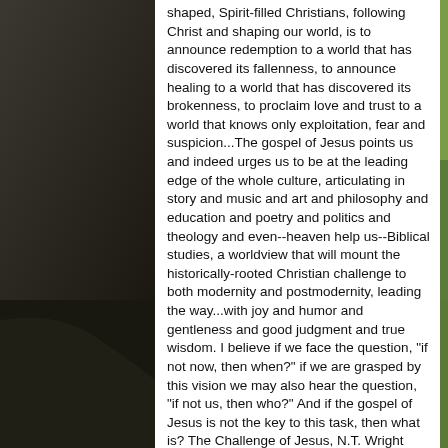[Figure (photo): Background photo collage: countryside road with green fields and trees on the right side, dark road/path on the left side, with additional landscape strips at the bottom.]
shaped, Spirit-filled Christians, following Christ and shaping our world, is to announce redemption to a world that has discovered its fallenness, to announce healing to a world that has discovered its brokenness, to proclaim love and trust to a world that knows only exploitation, fear and suspicion...The gospel of Jesus points us and indeed urges us to be at the leading edge of the whole culture, articulating in story and music and art and philosophy and education and poetry and politics and theology and even--heaven help us--Biblical studies, a worldview that will mount the historically-rooted Christian challenge to both modernity and postmodernity, leading the way...with joy and humor and gentleness and good judgment and true wisdom. I believe if we face the question, "if not now, then when?" if we are grasped by this vision we may also hear the question, "if not us, then who?" And if the gospel of Jesus is not the key to this task, then what is? The Challenge of Jesus, N.T. Wright ***** "We have entered, as I see it, a spiritual limbo. Our educational institutions are no longer the bearers of high culture, and public life